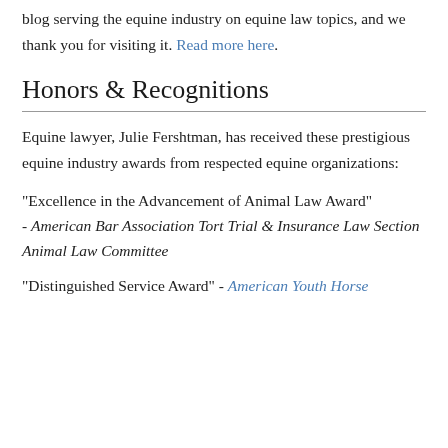blog serving the equine industry on equine law topics, and we thank you for visiting it. Read more here.
Honors & Recognitions
Equine lawyer, Julie Fershtman, has received these prestigious equine industry awards from respected equine organizations:
"Excellence in the Advancement of Animal Law Award" - American Bar Association Tort Trial & Insurance Law Section Animal Law Committee
"Distinguished Service Award" - American Youth Horse